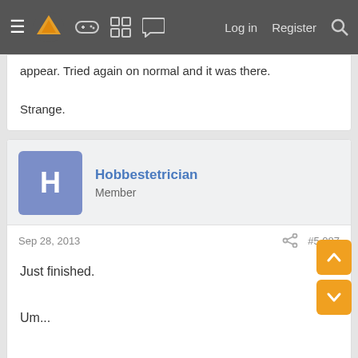≡ [logo] [gamepad icon] [grid icon] [chat icon]   Log in   Register   [search icon]
appear. Tried again on normal and it was there.
Strange.
Hobbestetrician
Member
Sep 28, 2013
#5,087
Just finished.
Um...
Holy shit.
Ricko Suave
Member